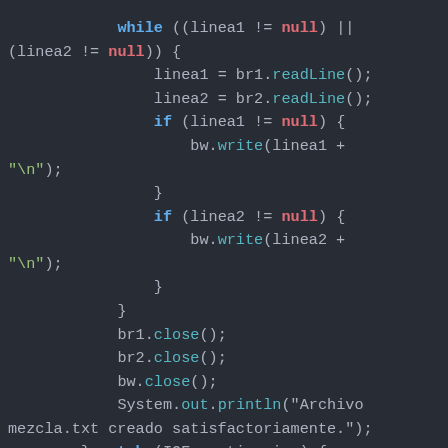[Figure (screenshot): Code editor screenshot showing Java code with syntax highlighting on dark background. The code shows a while loop merging two files, with if statements writing lines, then closing BufferedReaders and a BufferedWriter, followed by a catch block for IOException.]